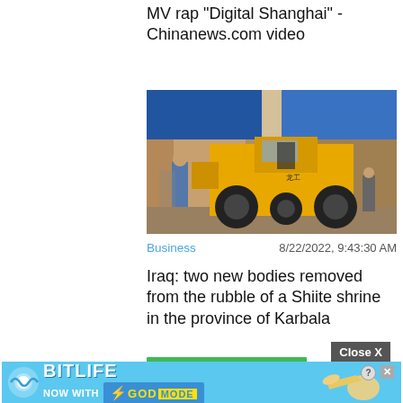MV rap "Digital Shanghai" - Chinanews.com video
[Figure (photo): Yellow bulldozer/loader machine operating at a construction or demolition site near a building with ornate blue-tiled Islamic architectural design. A person in military/police uniform stands to the left observing.]
Business
8/22/2022, 9:43:30 AM
Iraq: two new bodies removed from the rubble of a Shiite shrine in the province of Karbala
[Figure (screenshot): BitLife advertisement banner - 'NOW WITH GOD MODE' with hand pointing graphic and help/close buttons. Close X button visible above the ad.]